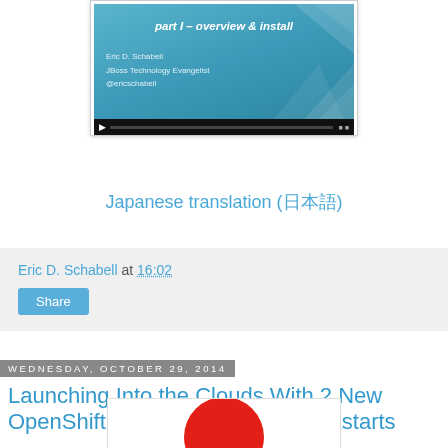[Figure (screenshot): Video thumbnail showing a presentation slide with text 'part I – overview & install', author Eric D. Schabell, JBoss Technology Evangelist, @ericschabell, with geometric triangle decoration on teal/blue background and video player controls]
Japanese translation (日本語)
Eric D. Schabell at 16:02
Share
Wednesday, October 29, 2014
Launching Into the Clouds With 2 New OpenShift Primer bpmPaaS Quickstarts
[Figure (illustration): Partial view of an image showing a red circle/sphere on white background, likely a Japanese flag or logo]